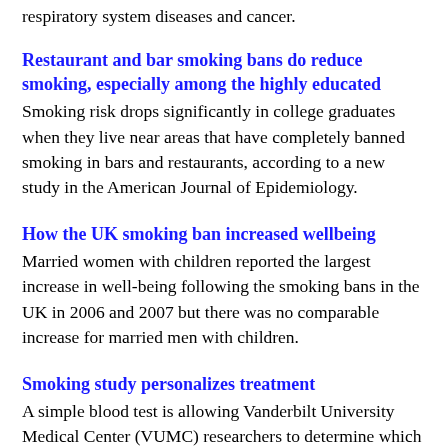respiratory system diseases and cancer.
Restaurant and bar smoking bans do reduce smoking, especially among the highly educated
Smoking risk drops significantly in college graduates when they live near areas that have completely banned smoking in bars and restaurants, according to a new study in the American Journal of Epidemiology.
How the UK smoking ban increased wellbeing
Married women with children reported the largest increase in well-being following the smoking bans in the UK in 2006 and 2007 but there was no comparable increase for married men with children.
Smoking study personalizes treatment
A simple blood test is allowing Vanderbilt University Medical Center (VUMC) researchers to determine which patients should be prescribed varenicline (Chantix) to st...